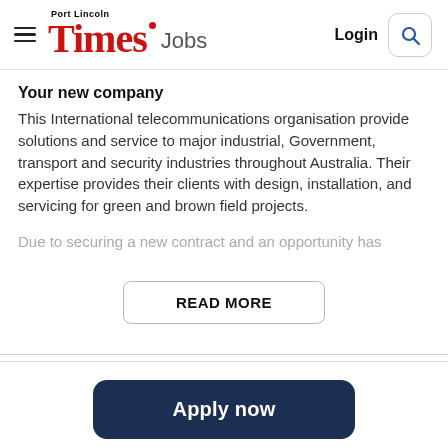Port Lincoln Times Jobs — Login
Your new company
This International telecommunications organisation provide solutions and service to major industrial, Government, transport and security industries throughout Australia. Their expertise provides their clients with design, installation, and servicing for green and brown field projects.
Due to securing a new contract and an opportunity has
[Figure (other): READ MORE button]
[Figure (other): Apply now button]